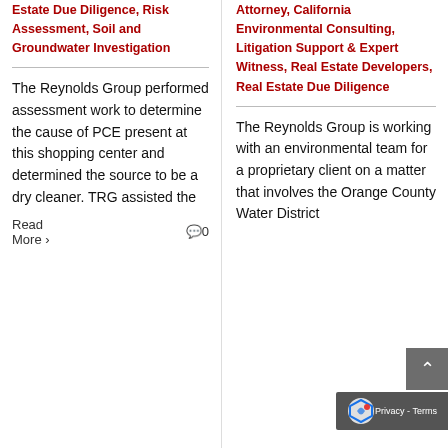Estate Due Diligence, Risk Assessment, Soil and Groundwater Investigation
The Reynolds Group performed assessment work to determine the cause of PCE present at this shopping center and determined the source to be a dry cleaner. TRG assisted the
Read More
0
Attorney, California Environmental Consulting, Litigation Support & Expert Witness, Real Estate Developers, Real Estate Due Diligence
The Reynolds Group is working with an environmental team for a proprietary client on a matter that involves the Orange County Water District